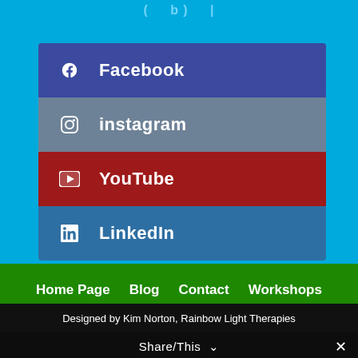( b )
f  Facebook
instagram
YouTube
LinkedIn
Home Page  Blog  Contact  Workshops  Privacy Policy
Designed by Kim Norton, Rainbow Light Therapies
Share/This  ∨  ✕